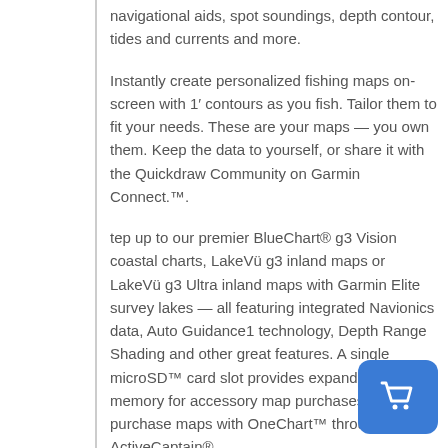navigational aids, spot soundings, depth contour, tides and currents and more.
Instantly create personalized fishing maps on-screen with 1′ contours as you fish. Tailor them to fit your needs. These are your maps — you own them. Keep the data to yourself, or share it with the Quickdraw Community on Garmin Connect.™.
tep up to our premier BlueChart® g3 Vision coastal charts, LakeVü g3 inland maps or LakeVü g3 Ultra inland maps with Garmin Elite survey lakes — all featuring integrated Navionics data, Auto Guidance1 technology, Depth Range Shading and other great features. A single microSD™ card slot provides expandable memory for accessory map purchases. Or purchase maps with OneChart™ through the ActiveCaptain®
[Figure (illustration): Blue rounded square button with a white shopping cart icon in the bottom-right corner of the page.]